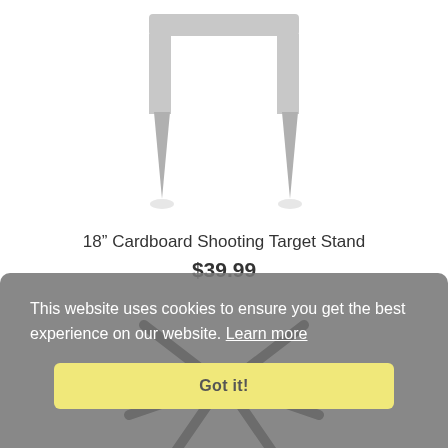[Figure (photo): Gray cardboard shooting target stand product image, showing a U-shaped top and two pointed stake legs]
18” Cardboard Shooting Target Stand
$39.99
[Figure (photo): Black metal target stand base with six spreading arms and a central mount, partially visible behind cookie consent overlay]
This website uses cookies to ensure you get the best experience on our website. Learn more
Got it!